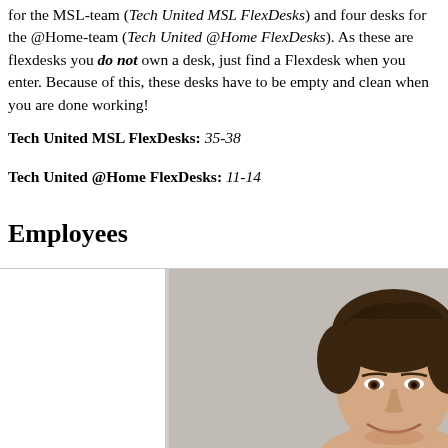for the MSL-team (Tech United MSL FlexDesks) and four desks for the @Home-team (Tech United @Home FlexDesks). As these are flexdesks you do not own a desk, just find a Flexdesk when you enter. Because of this, these desks have to be empty and clean when you are done working!
Tech United MSL FlexDesks: 35-38
Tech United @Home FlexDesks: 11-14
Employees
[Figure (photo): Portrait photo of a young man with dark wavy hair, smiling]
[Figure (photo): Photo of robots on a green playing field with number 3 visible]